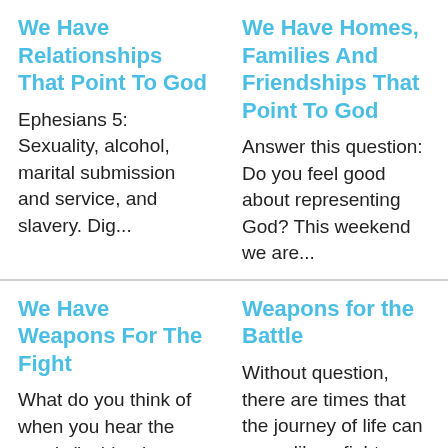We Have Relationships That Point To God
Ephesians 5: Sexuality, alcohol, marital submission and service, and slavery. Dig...
We Have Homes, Families And Friendships That Point To God
Answer this question: Do you feel good about representing God? This weekend we are...
We Have Weapons For The Fight
What do you think of when you hear the words "spiritual warfare"? Dig deeper
Weapons for the Battle
Without question, there are times that the journey of life can seem like a fight. This...